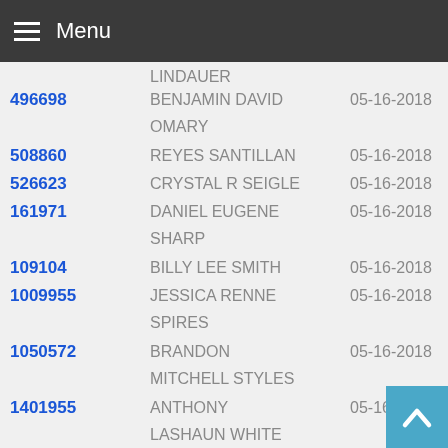Menu
| ID | Name | Date |
| --- | --- | --- |
|  | LINDAUER |  |
| 496698 | BENJAMIN DAVID OMARY | 05-16-2018 |
| 508860 | REYES SANTILLAN | 05-16-2018 |
| 526623 | CRYSTAL R SEIGLE | 05-16-2018 |
| 161971 | DANIEL EUGENE SHARP | 05-16-2018 |
| 109104 | BILLY LEE SMITH | 05-16-2018 |
| 1009955 | JESSICA RENNE SPIRES | 05-16-2018 |
| 1050572 | BRANDON MITCHELL STYLES | 05-16-2018 |
| 1401955 | ANTHONY LASHAUN WHITE | 05-16-2018 |
| 161807 | DANA KAYE BASS | 05-16-2018 |
| 1107994 | MICHAEL WAYNE BRANUM | 05-16-2018 |